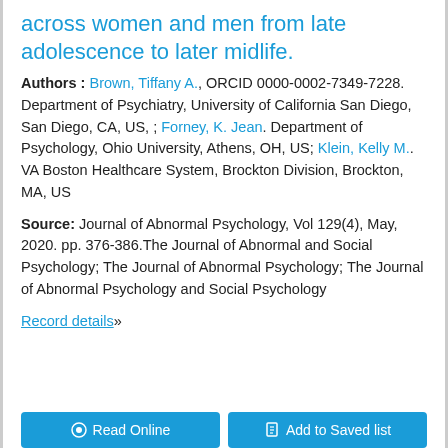across women and men from late adolescence to later midlife.
Authors : Brown, Tiffany A., ORCID 0000-0002-7349-7228. Department of Psychiatry, University of California San Diego, San Diego, CA, US, ; Forney, K. Jean. Department of Psychology, Ohio University, Athens, OH, US; Klein, Kelly M.. VA Boston Healthcare System, Brockton Division, Brockton, MA, US
Source: Journal of Abnormal Psychology, Vol 129(4), May, 2020. pp. 376-386.The Journal of Abnormal and Social Psychology; The Journal of Abnormal Psychology; The Journal of Abnormal Psychology and Social Psychology
Record details»